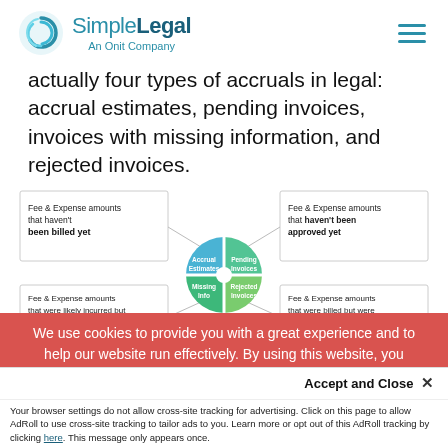SimpleLegal — An Onit Company
actually four types of accruals in legal: accrual estimates, pending invoices, invoices with missing information, and rejected invoices.
[Figure (infographic): Circular diagram divided into four quadrants showing the four types of accruals: Accrual Estimates (blue, top-left), Pending Invoices (green, top-right), Missing Info (green, bottom-left), Rejected Invoices (green, bottom-right). Each quadrant has a surrounding box with explanatory text. Top-left: 'Fee & Expense amounts that haven't been billed yet'. Top-right: 'Fee & Expense amounts that haven't been approved yet'. Bottom-left: 'Fee & Expense amounts that were likely incurred but...'. Bottom-right: 'Fee & Expense amounts that were billed but were rejected by legal...']
We use cookies to provide you with a great experience and to help our website run effectively. By using this website, you
Accept and Close ✕
Your browser settings do not allow cross-site tracking for advertising. Click on this page to allow AdRoll to use cross-site tracking to tailor ads to you. Learn more or opt out of this AdRoll tracking by clicking here. This message only appears once.